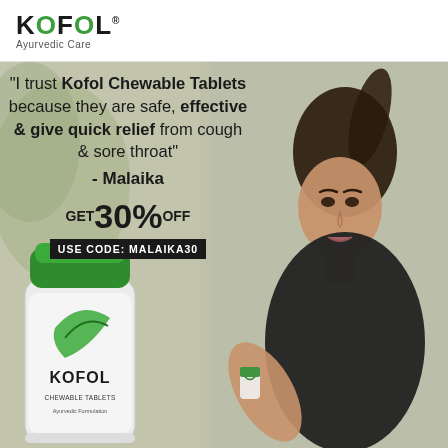[Figure (logo): KOFOL Ayurvedic Care logo with green O letter and registered trademark symbol]
[Figure (infographic): Advertisement featuring a woman holding Kofol Chewable Tablets product with quote text, discount offer, and product bottle in the foreground]
"I trust Kofol Chewable Tablets because they are safe, effective & give quick relief from cough & sore throat"
- Malaika
GET 30% OFF USE CODE: MALAIKA30